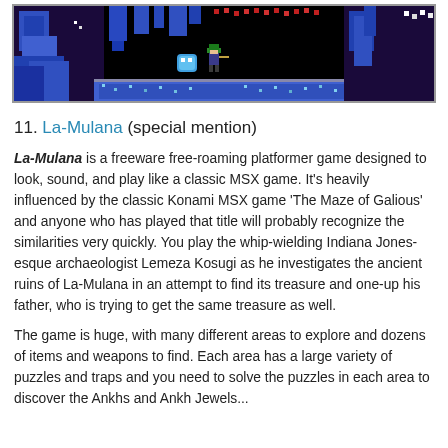[Figure (screenshot): Pixel art screenshot of La-Mulana game — dark cave scene with blue pixel walls, a small green-hatted character in center, red enemy on right, and colorful pixelated background elements on black.]
11. La-Mulana (special mention)
La-Mulana is a freeware free-roaming platformer game designed to look, sound, and play like a classic MSX game. It's heavily influenced by the classic Konami MSX game 'The Maze of Galious' and anyone who has played that title will probably recognize the similarities very quickly. You play the whip-wielding Indiana Jones-esque archaeologist Lemeza Kosugi as he investigates the ancient ruins of La-Mulana in an attempt to find its treasure and one-up his father, who is trying to get the same treasure as well.
The game is huge, with many different areas to explore and dozens of items and weapons to find. Each area has a large variety of puzzles and traps and you need to solve the puzzles in each area to discover the Ankhs and Ankh Jewels...